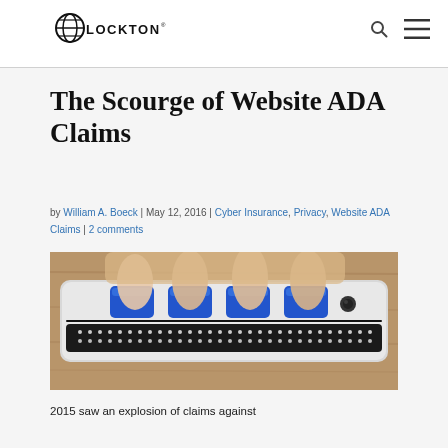Lockton — navigation header with logo, search icon, and menu icon
The Scourge of Website ADA Claims
by William A. Boeck | May 12, 2016 | Cyber Insurance, Privacy, Website ADA Claims | 2 comments
[Figure (photo): Close-up photo of hands using a braille display device with blue tactile keys and braille dots, resting on a wooden surface]
2015 saw an explosion of claims against